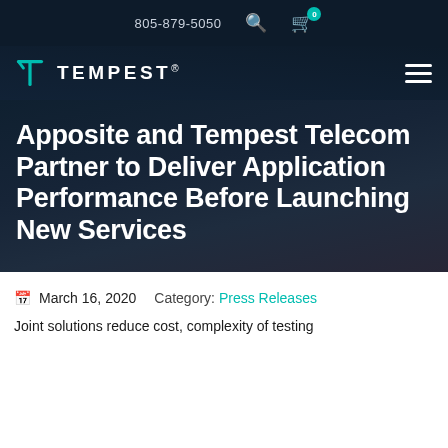805-879-5050
[Figure (logo): Tempest logo with teal T icon and white TEMPEST® wordmark on dark navy background]
Apposite and Tempest Telecom Partner to Deliver Application Performance Before Launching New Services
March 16, 2020   Category: Press Releases
Joint solutions reduce cost, complexity of testing